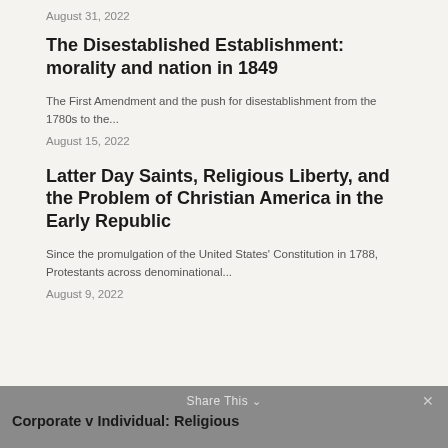August 31, 2022
The Disestablished Establishment: morality and nation in 1849
The First Amendment and the push for disestablishment from the 1780s to the...
August 15, 2022
Latter Day Saints, Religious Liberty, and the Problem of Christian America in the Early Republic
Since the promulgation of the United States' Constitution in 1788, Protestants across denominational...
August 9, 2022
Share This   ✕
Corporate v Individual: Religious